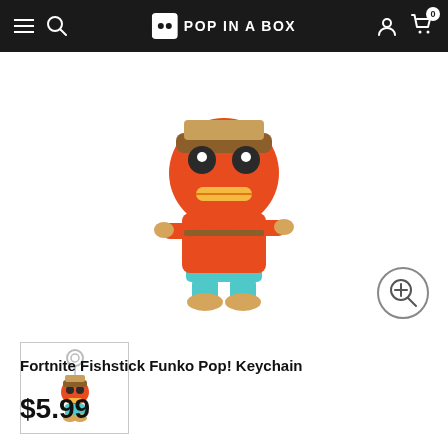Pop In A Box
[Figure (photo): Funko Pop Fishstick figure from Fortnite - large orange fish head character with teal shorts and tan boots, arms crossed]
[Figure (photo): Thumbnail of Fortnite Fishstick Funko Pop keychain - small version on a keyring]
Fortnite Fishstick Funko Pop! Keychain
$5.99